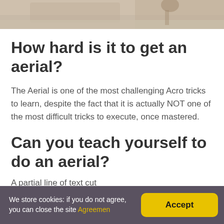[Figure (photo): Partial photo of a person on a beach, cropped at the top of the page]
How hard is it to get an aerial?
The Aerial is one of the most challenging Acro tricks to learn, despite the fact that it is actually NOT one of the most difficult tricks to execute, once mastered.
Can you teach yourself to do an aerial?
A partial line of text cut off at the bottom of the page
We store cookies: if you do not agree, you can close the site Agreemen  Accept